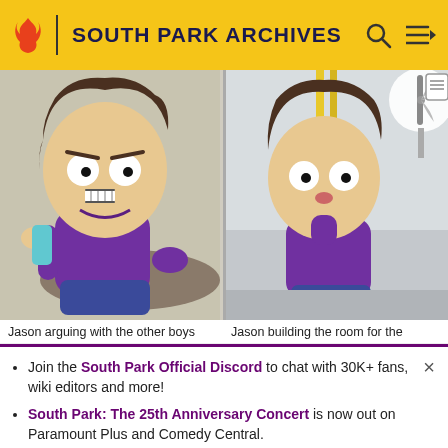SOUTH PARK ARCHIVES
[Figure (screenshot): South Park animated character Jason arguing with other boys, wearing purple shirt]
[Figure (screenshot): South Park animated character Jason building the room, holding a yellow cord, wearing purple shirt]
Jason arguing with the other boys
Jason building the room for the
Join the South Park Official Discord to chat with 30K+ fans, wiki editors and more!
South Park: The 25th Anniversary Concert is now out on Paramount Plus and Comedy Central.